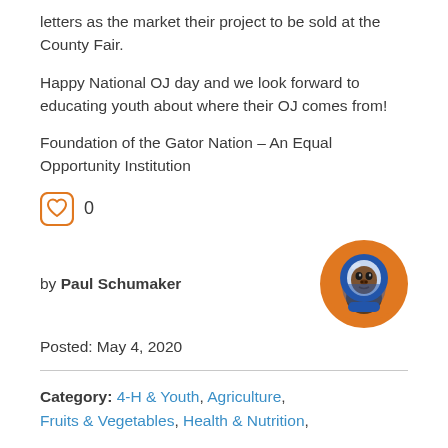letters as the market their project to be sold at the County Fair.
Happy National OJ day and we look forward to educating youth about where their OJ comes from!
Foundation of the Gator Nation – An Equal Opportunity Institution
0
by Paul Schumaker
[Figure (illustration): Circular avatar with orange background showing a gorilla wearing a blue astronaut helmet]
Posted: May 4, 2020
Category: 4-H & Youth, Agriculture, Fruits & Vegetables, Health & Nutrition,